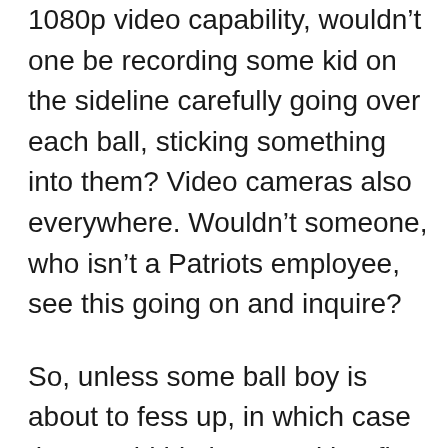1080p video capability, wouldn't one be recording some kid on the sideline carefully going over each ball, sticking something into them? Video cameras also everywhere. Wouldn't someone, who isn't a Patriots employee, see this going on and inquire?
So, unless some ball boy is about to fess up, in which case they could hit the org with a fine, but it wouldn't placate the pitchforked public. I have to wonder that if the NFL takes this seriously, they want to hit more than a